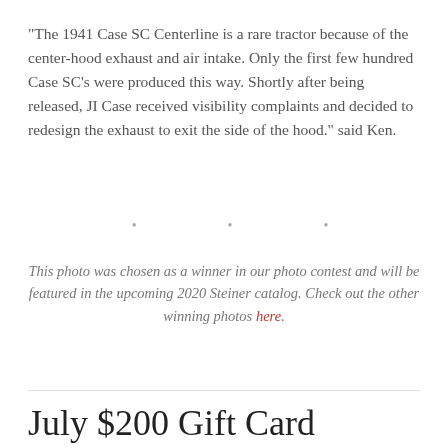"The 1941 Case SC Centerline is a rare tractor because of the center-hood exhaust and air intake. Only the first few hundred Case SC's were produced this way. Shortly after being released, JI Case received visibility complaints and decided to redesign the exhaust to exit the side of the hood." said Ken.
• • •
This photo was chosen as a winner in our photo contest and will be featured in the upcoming 2020 Steiner catalog. Check out the other winning photos here.
July $200 Gift Card Winner